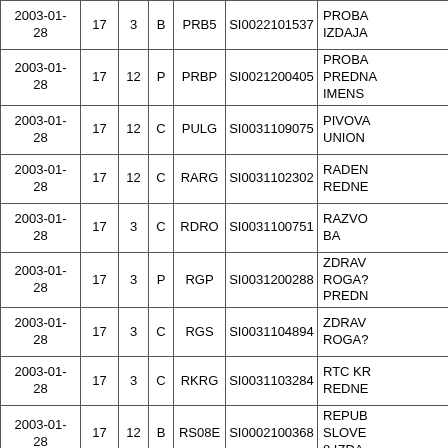| Date | Col2 | Col3 | Type | Code | ISIN | Description |
| --- | --- | --- | --- | --- | --- | --- |
| 2003-01-28 | 17 | 3 | B | PRB5 | SI0022101537 | PROBA IZDAJA |
| 2003-01-28 | 17 | 12 | P | PRBP | SI0021200405 | PROBA PREDNA IMENS |
| 2003-01-28 | 17 | 12 | C | PULG | SI0031109075 | PIVOVA UNION |
| 2003-01-28 | 17 | 12 | C | RARG | SI0031102302 | RADEN REDNE |
| 2003-01-28 | 17 | 3 | C | RDRO | SI0031100751 | RAZVO BA |
| 2003-01-28 | 17 | 3 | P | RGP | SI0031200288 | ZDRAV ROGA? PREDN |
| 2003-01-28 | 17 | 3 | C | RGS | SI0031104894 | ZDRAV ROGA? |
| 2003-01-28 | 17 | 3 | C | RKRG | SI0031103284 | RTC KR REDNE |
| 2003-01-28 | 17 | 12 | B | RS08E | SI0002100368 | REPUB SLOVE 8.IZDA |